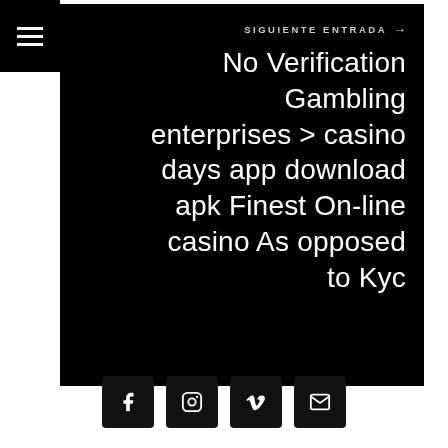[Figure (other): Hamburger menu icon (three horizontal white lines on black background)]
SIGUIENTE ENTRADA →
No Verification Gambling enterprises > casino days app download apk Finest On-line casino As opposed to Kyc
[Figure (other): Social media icons row: Facebook, Instagram, Vimeo, Email — white icons on black rounded square backgrounds]